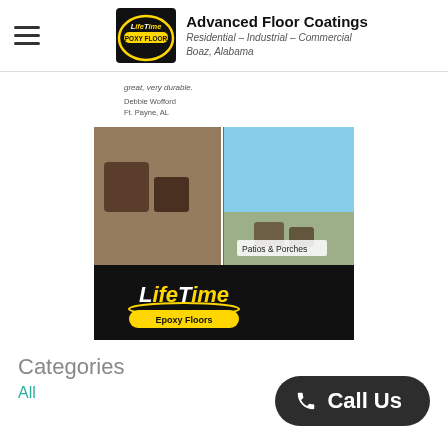Advanced Floor Coatings
Residential – Industrial – Commercial
Boaz, Alabama
[Figure (photo): Composite image showing a LifeTime Epoxy Floors advertisement with photos of patios and porches with epoxy flooring, a partially visible customer review text, and the LifeTime Epoxy Floors logo with tagline 'Epoxy Floors Done Right']
Categories
All
Call Us